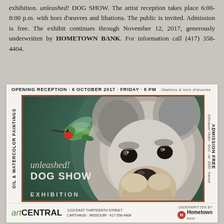exhibition. unleashed! DOG SHOW. The artist reception takes place 6:00-8:00 p.m. with hors d’œuvres and libations. The public is invited. Admission is free. The exhibit continues through November 12, 2017, generously underwritten by HOMETOWN BANK. For information call (417) 358-4404.
[Figure (illustration): Flyer for Michael Steddum's 'unleashed! DOG SHOW' art exhibition at artCENTRAL, featuring a painting of a schnauzer dog with a hummingbird. Opening reception October 6, 2017, Friday 6PM, exhibition runs 6 Oct - 12 Nov 2017. Oil & Watercolor Paintings. Admission Free. Underwritten by Hometown Bank.]